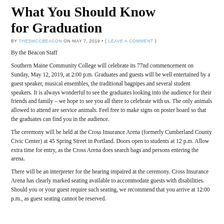What You Should Know for Graduation
BY THESMCCBEACON ON MAY 7, 2019 • ( LEAVE A COMMENT )
By the Beacon Staff
Southern Maine Community College will celebrate its 77nd commencement on Sunday, May 12, 2019, at 2:00 p.m. Graduates and guests will be well entertained by a guest speaker, musical ensembles, the traditional bagpipes and several student speakers. It is always wonderful to see the graduates looking into the audience for their friends and family – we hope to see you all there to celebrate with us. The only animals allowed to attend are service animals. Feel free to make signs on poster board so that the graduates can find you in the audience.
The ceremony will be held at the Cross Insurance Arena (formerly Cumberland County Civic Center) at 45 Spring Street in Portland. Doors open to students at 12 p.m. Allow extra time for entry, as the Cross Arena does search bags and persons entering the arena.
There will be an interpreter for the hearing impaired at the ceremony. Cross Insurance Arena has clearly marked seating available to accommodate guests with disabilities. Should you or your guest require such seating, we recommend that you arrive at 12:00 p.m., as guest seating cannot be reserved.